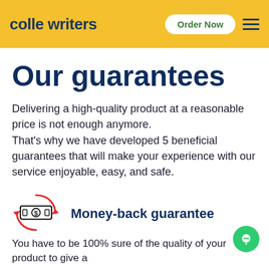colle writers | Order Now
Our guarantees
Delivering a high-quality product at a reasonable price is not enough anymore.
That’s why we have developed 5 beneficial guarantees that will make your experience with our service enjoyable, easy, and safe.
[Figure (illustration): Money-back guarantee icon: a cash/money icon with red circular arrows indicating refund]
Money-back guarantee
You have to be 100% sure of the quality of your product to give a